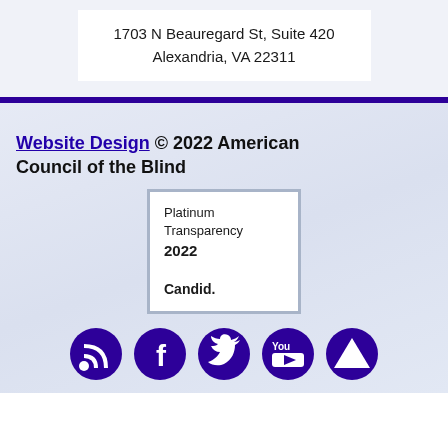1703 N Beauregard St, Suite 420
Alexandria, VA 22311
Website Design © 2022 American Council of the Blind
[Figure (other): Platinum Transparency 2022 Candid. badge/seal in a box]
[Figure (other): Row of social media icons: RSS feed, Facebook, Twitter, YouTube, and one more (partially visible)]